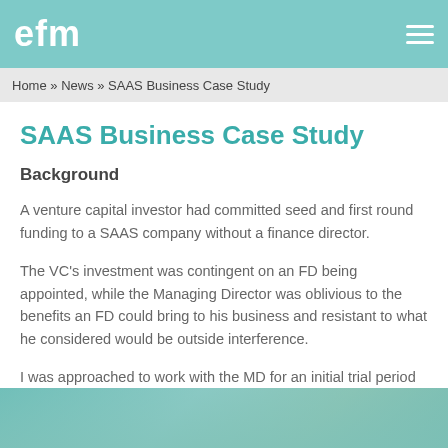efm
Home » News » SAAS Business Case Study
SAAS Business Case Study
Background
A venture capital investor had committed seed and first round funding to a SAAS company without a finance director.
The VC's investment was contingent on an FD being appointed, while the Managing Director was oblivious to the benefits an FD could bring to his business and resistant to what he considered would be outside interference.
I was approached to work with the MD for an initial trial period of three months, delivering one half day each month, and ongoing email and phone support.
[Figure (photo): Partial photo strip at bottom of page showing a teal/turquoise background scene]